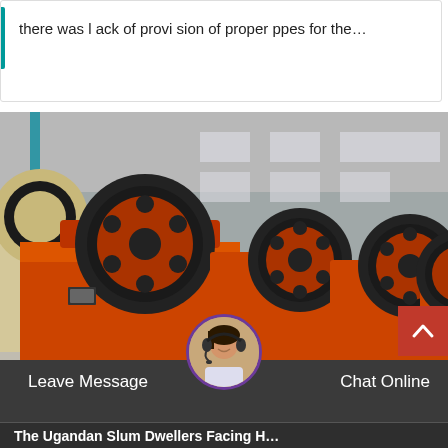there was l ack of provi sion of proper ppes for the…
[Figure (photo): Row of large orange industrial jaw crusher machines with black flywheels inside a factory/warehouse setting. Multiple units are lined up showing orange painted steel frames with large circular black rubber-edged flywheels.]
Leave Message
Chat Online
The Ugandan Slum Dwellers Facing H…